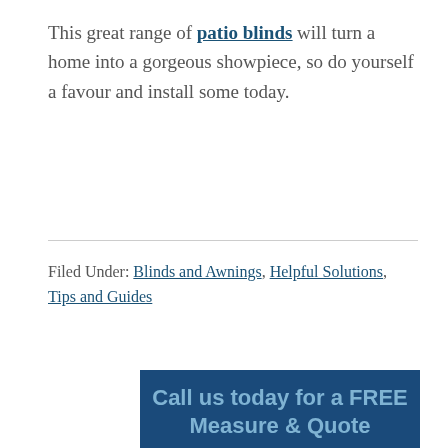This great range of patio blinds will turn a home into a gorgeous showpiece, so do yourself a favour and install some today.
Filed Under: Blinds and Awnings, Helpful Solutions, Tips and Guides
[Figure (infographic): Dark blue call-to-action banner reading 'Call us today for a FREE Measure & Quote' with subtext 'To make a booking for a free measure and quote']